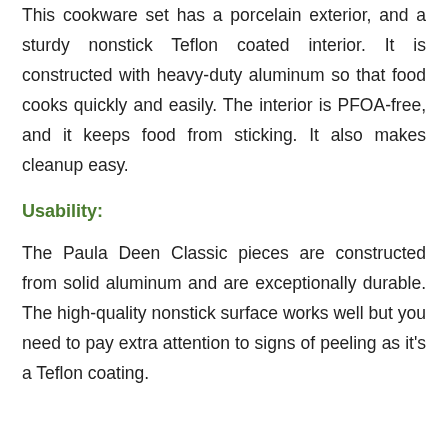This cookware set has a porcelain exterior, and a sturdy nonstick Teflon coated interior. It is constructed with heavy-duty aluminum so that food cooks quickly and easily. The interior is PFOA-free, and it keeps food from sticking. It also makes cleanup easy.
Usability:
The Paula Deen Classic pieces are constructed from solid aluminum and are exceptionally durable. The high-quality nonstick surface works well but you need to pay extra attention to signs of peeling as it's a Teflon coating.